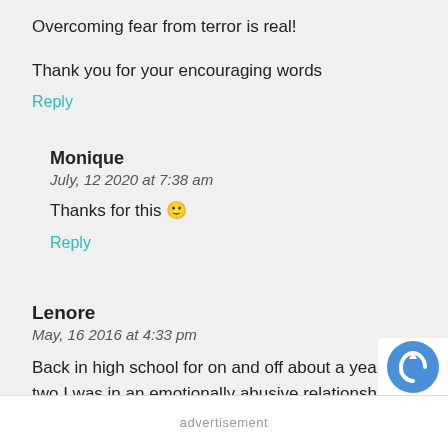Overcoming fear from terror is real!
Thank you for your encouraging words
Reply
Monique
July, 12 2020 at 7:38 am
Thanks for this 🙂
Reply
Lenore
May, 16 2016 at 4:33 pm
Back in high school for on and off about a year or two I was in an emotionally abusive relationship. It started out small, getting me to ignore my friends, talk to him 24/7, and make him my only companion. then it got worse telling me about how other girls were more attract
advertisement